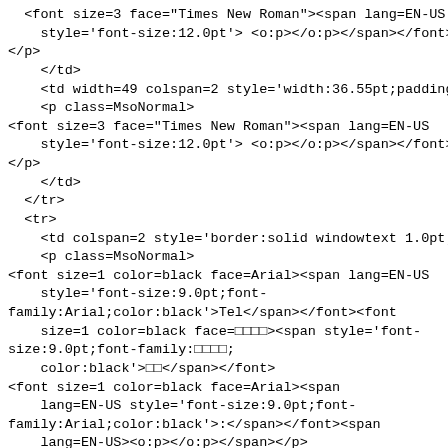HTML/XML source code snippet showing table cell markup with font tags, spanning attributes, and inline styles